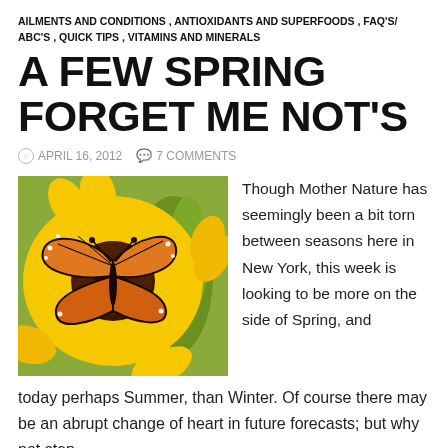AILMENTS AND CONDITIONS, ANTIOXIDANTS AND SUPERFOODS, FAQ'S/ABC'S, QUICK TIPS, VITAMINS AND MINERALS
A FEW SPRING FORGET ME NOT'S
APRIL 16, 2012   7 COMMENTS
[Figure (photo): A monarch butterfly perched on a yellow sunflower, with green background]
Though Mother Nature has seemingly been a bit torn between seasons here in New York, this week is looking to be more on the side of Spring, and today perhaps Summer, than Winter. Of course there may be an abrupt change of heart in future forecasts; but why not step